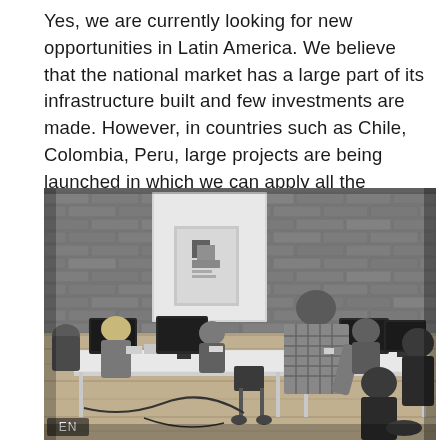Yes, we are currently looking for new opportunities in Latin America. We believe that the national market has a large part of its infrastructure built and few investments are made. However, in countries such as Chile, Colombia, Peru, large projects are being launched in which we can apply all the knowledge accumulated throughout these years.
[Figure (photo): Black and white photograph of an open-plan office with brick walls. Several people are working at white desks with computers. A man in a plaid shirt is leaning over to look at someone's screen. A poster is visible on the brick wall. An 'EN' label appears in the lower left of the image.]